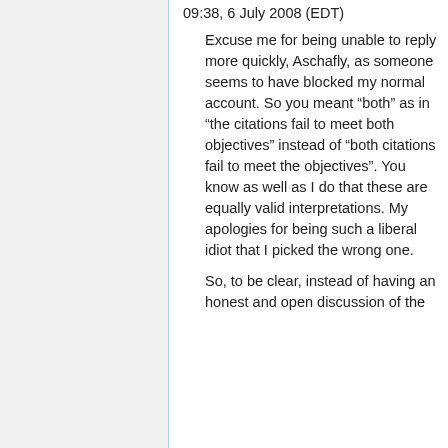09:38, 6 July 2008 (EDT)
Excuse me for being unable to reply more quickly, Aschafly, as someone seems to have blocked my normal account. So you meant “both” as in “the citations fail to meet both objectives” instead of “both citations fail to meet the objectives”. You know as well as I do that these are equally valid interpretations. My apologies for being such a liberal idiot that I picked the wrong one.
So, to be clear, instead of having an honest and open discussion of the